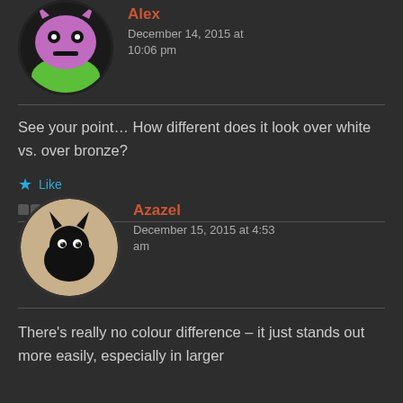[Figure (illustration): Avatar of user Alex — a cartoon purple monster face with green lower portion, dark circular border, partially cropped at top of page]
Alex
December 14, 2015 at 10:06 pm
See your point… How different does it look over white vs. over bronze?
Like
[Figure (illustration): Avatar of user Azazel — a black cat photo with beige/tan background, circular crop with dark border]
Azazel
December 15, 2015 at 4:53 am
There's really no colour difference – it just stands out more easily, especially in larger